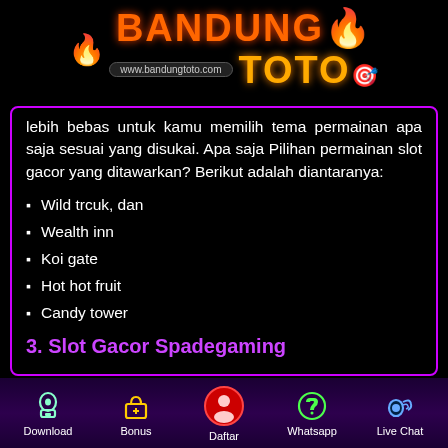[Figure (logo): Bandung Toto logo with flame icon, orange/yellow text, and URL www.bandungtoto.com]
lebih bebas untuk kamu memilih tema permainan apa saja sesuai yang disukai. Apa saja Pilihan permainan slot gacor yang ditawarkan? Berikut adalah diantaranya:
Wild trcuk, dan
Wealth inn
Koi gate
Hot hot fruit
Candy tower
3. Slot Gacor Spadegaming
Download  Bonus  Daftar  Whatsapp  Live Chat